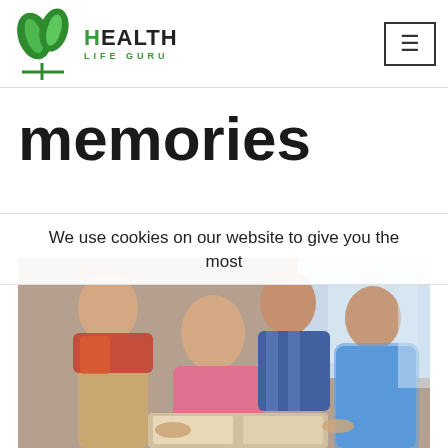[Figure (logo): Health Life Guru logo with green leaf icon and text]
memories
We use cookies on our website to give you the most
[Figure (photo): Group of elderly people looking at a photo album together, including two women and a man gathered around a woman in pink]